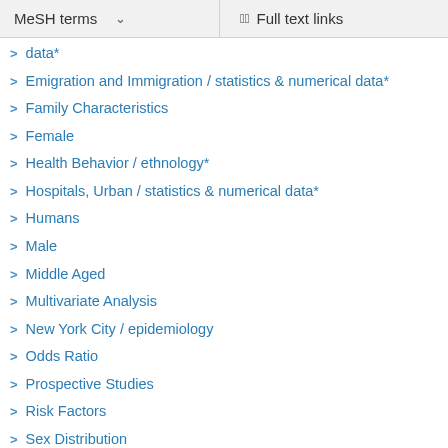MeSH terms    Full text links
data*
Emigration and Immigration / statistics & numerical data*
Family Characteristics
Female
Health Behavior / ethnology*
Hospitals, Urban / statistics & numerical data*
Humans
Male
Middle Aged
Multivariate Analysis
New York City / epidemiology
Odds Ratio
Prospective Studies
Risk Factors
Sex Distribution
Socioeconomic Factors